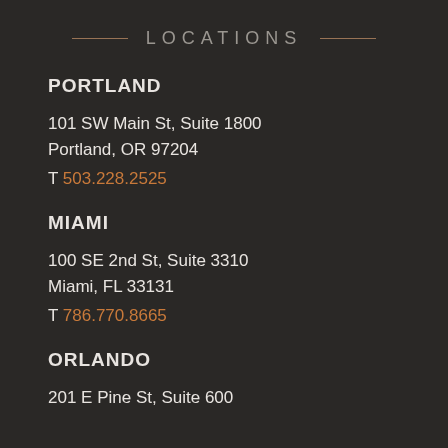LOCATIONS
PORTLAND
101 SW Main St, Suite 1800
Portland, OR 97204
T 503.228.2525
MIAMI
100 SE 2nd St, Suite 3310
Miami, FL 33131
T 786.770.8665
ORLANDO
201 E Pine St, Suite 600